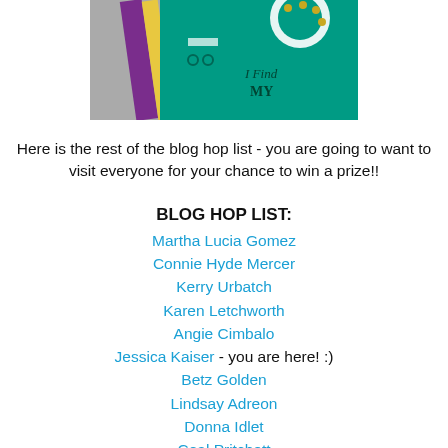[Figure (photo): Cropped photo of a handmade card with teal/green background, purple and yellow layered cardstock, and decorative elements including gold dots and text reading 'I Find MY']
Here is the rest of the blog hop list - you are going to want to visit everyone for your chance to win a prize!!
BLOG HOP LIST:
Martha Lucia Gomez
Connie Hyde Mercer
Kerry Urbatch
Karen Letchworth
Angie Cimbalo
Jessica Kaiser - you are here! :)
Betz Golden
Lindsay Adreon
Donna Idlet
Ceal Pritchett